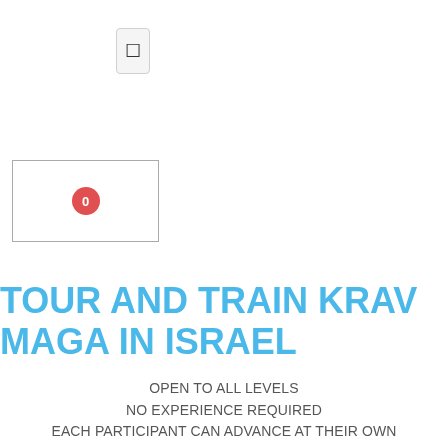[Figure (other): UI button element — small rectangle with a checkbox/cursor icon]
[Figure (other): Badge box — white rectangle with border containing a red circle badge with the number 0]
TOUR AND TRAIN KRAV MAGA IN ISRAEL
OPEN TO ALL LEVELS
NO EXPERIENCE REQUIRED
EACH PARTICIPANT CAN ADVANCE AT THEIR OWN PACE
PHYSICAL RESTRICTIONS - DON'T WORRY AS THE TRAINING CAN BE ADAPTED TO SUIT YOU THE INDIVIDUAL